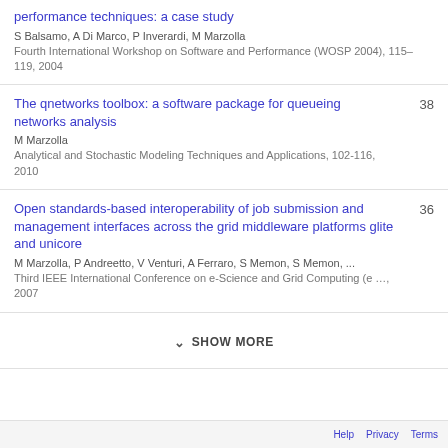performance techniques: a case study
S Balsamo, A Di Marco, P Inverardi, M Marzolla
Fourth International Workshop on Software and Performance (WOSP 2004), 115–119, 2004
The qnetworks toolbox: a software package for queueing networks analysis
M Marzolla
Analytical and Stochastic Modeling Techniques and Applications, 102-116, 2010
38
Open standards-based interoperability of job submission and management interfaces across the grid middleware platforms glite and unicore
M Marzolla, P Andreetto, V Venturi, A Ferraro, S Memon, S Memon, ...
Third IEEE International Conference on e-Science and Grid Computing (e …, 2007
36
SHOW MORE
Help  Privacy  Terms